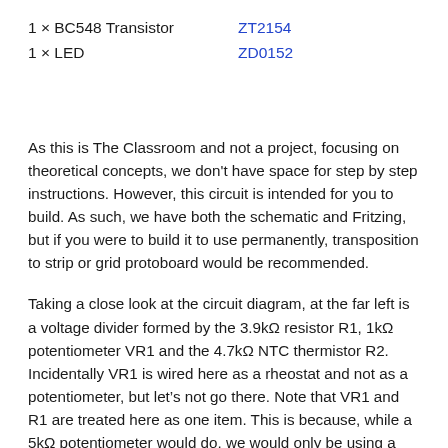1 × BC548 Transistor    ZT2154
1 × LED    ZD0152
As this is The Classroom and not a project, focusing on theoretical concepts, we don't have space for step by step instructions. However, this circuit is intended for you to build. As such, we have both the schematic and Fritzing, but if you were to build it to use permanently, transposition to strip or grid protoboard would be recommended.
Taking a close look at the circuit diagram, at the far left is a voltage divider formed by the 3.9kΩ resistor R1, 1kΩ potentiometer VR1 and the 4.7kΩ NTC thermistor R2. Incidentally VR1 is wired here as a rheostat and not as a potentiometer, but let's not go there. Note that VR1 and R1 are treated here as one item. This is because, while a 5kΩ potentiometer would do, we would only be using a small part of its travel for our adjustment range. Adding a 3.9kΩ fixed resistor to a 1kΩ pot means that much more of the travel is usable range. The junction between VR1 and R2 is connected to R3, a 10kΩ resistor which serves to limit the current to the op